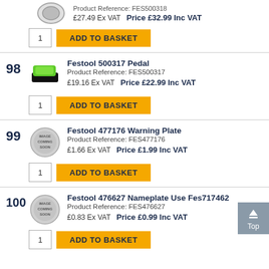Product Reference: FES500318
£27.49 Ex VAT  Price £32.99 Inc VAT
1  ADD TO BASKET
98
Festool 500317 Pedal
Product Reference: FES500317
£19.16 Ex VAT  Price £22.99 Inc VAT
1  ADD TO BASKET
99
Festool 477176 Warning Plate
Product Reference: FES477176
£1.66 Ex VAT  Price £1.99 Inc VAT
1  ADD TO BASKET
100
Festool 476627 Nameplate Use Fes717462
Product Reference: FES476627
£0.83 Ex VAT  Price £0.99 Inc VAT
1  ADD TO BASKET